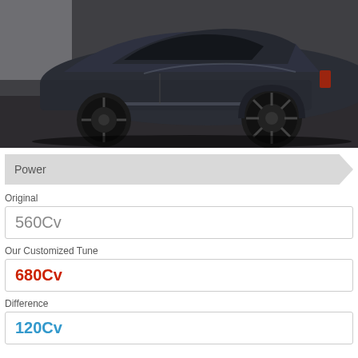[Figure (photo): Side view of a dark gray BMW M6 with black alloy wheels, parked on a dark ground surface near a white wall, low angle shot emphasizing the rear wheel and body profile.]
Power
Original
560Cv
Our Customized Tune
680Cv
Difference
120Cv